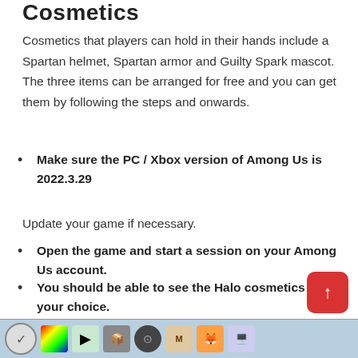Cosmetics
Cosmetics that players can hold in their hands include a Spartan helmet, Spartan armor and Guilty Spark mascot. The three items can be arranged for free and you can get them by following the steps and onwards.
Make sure the PC / Xbox version of Among Us is 2022.3.29
Update your game if necessary.
Open the game and start a session on your Among Us account.
You should be able to see the Halo cosmetics of your choice.
It is added automatically if it is in the correct versi…
[Figure (screenshot): Windows taskbar with various application icons visible at the bottom of the screen]